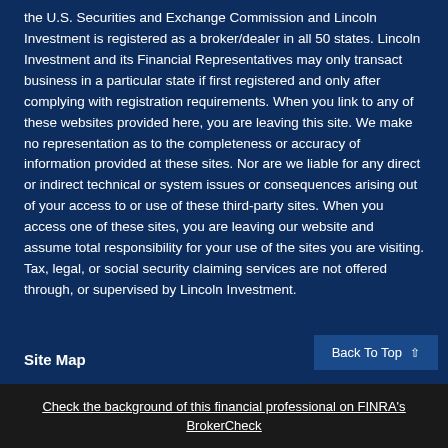the U.S. Securities and Exchange Commission and Lincoln Investment is registered as a broker/dealer in all 50 states. Lincoln Investment and its Financial Representatives may only transact business in a particular state if first registered and only after complying with registration requirements. When you link to any of these websites provided here, you are leaving this site. We make no representation as to the completeness or accuracy of information provided at these sites. Nor are we liable for any direct or indirect technical or system issues or consequences arising out of your access to or use of these third-party sites. When you access one of these sites, you are leaving our website and assume total responsibility for your use of the sites you are visiting. Tax, legal, or social security claiming services are not offered through, or supervised by Lincoln Investment.
Site Map
Check the background of this financial professional on FINRA's BrokerCheck